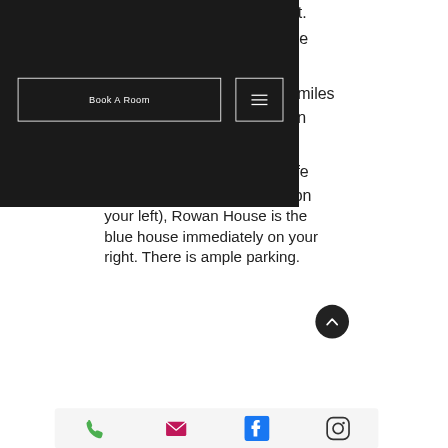[Figure (screenshot): Navigation overlay with dark background, 'Book A Room' button with white border, and hamburger menu button with white border]
r left.
the
miles
n
Cafe
e (on your left), Rowan House is the blue house immediately on your right. There is ample parking.
[Figure (other): Dark circular back-to-top chevron button]
[Figure (other): Footer icon bar with phone, email, Facebook, and Instagram icons]